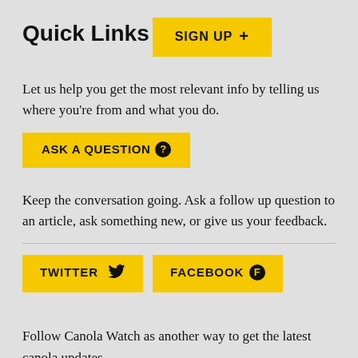Quick Links
[Figure (other): Yellow button labeled SIGN UP with a plus sign]
Let us help you get the most relevant info by telling us where you’re from and what you do.
[Figure (other): Yellow button labeled ASK A QUESTION with a question mark in a circle]
Keep the conversation going. Ask a follow up question to an article, ask something new, or give us your feedback.
[Figure (other): Two yellow buttons side by side: TWITTER with bird icon and FACEBOOK with Facebook icon]
Follow Canola Watch as another way to get the latest canola updates.